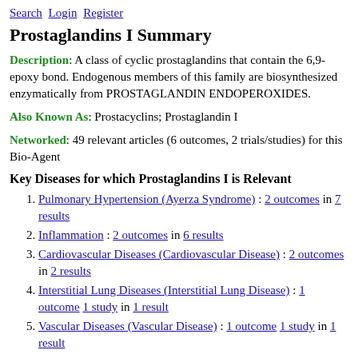Search Login Register
Prostaglandins I Summary
Description: A class of cyclic prostaglandins that contain the 6,9-epoxy bond. Endogenous members of this family are biosynthesized enzymatically from PROSTAGLANDIN ENDOPEROXIDES.
Also Known As: Prostacyclins; Prostaglandin I
Networked: 49 relevant articles (6 outcomes, 2 trials/studies) for this Bio-Agent
Key Diseases for which Prostaglandins I is Relevant
Pulmonary Hypertension (Ayerza Syndrome) : 2 outcomes in 7 results
Inflammation : 2 outcomes in 6 results
Cardiovascular Diseases (Cardiovascular Disease) : 2 outcomes in 2 results
Interstitial Lung Diseases (Interstitial Lung Disease) : 1 outcome 1 study in 1 result
Vascular Diseases (Vascular Disease) : 1 outcome 1 study in 1 result